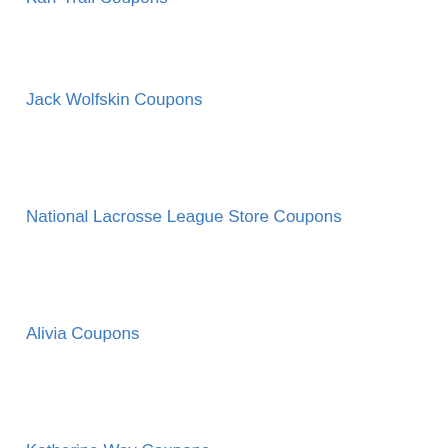Karr Trail Coupons
Jack Wolfskin Coupons
National Lacrosse League Store Coupons
Alivia Coupons
Katherine Way Coupons
Puma CA Coupons
La Canadienne Coupons
Nomads Swimwear Coupons
ourCommonplace Coupons
Nicole Miller Reserved Coupons